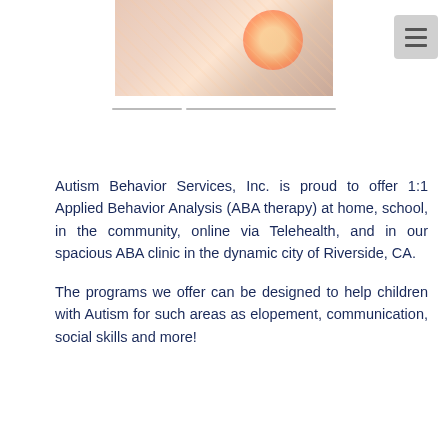[Figure (photo): Photo of an adult and child doing an activity at a table with colorful letter tiles/manipulatives]
Autism Behavior Services, Inc. is proud to offer 1:1 Applied Behavior Analysis (ABA therapy) at home, school, in the community, online via Telehealth, and in our spacious ABA clinic in the dynamic city of Riverside, CA.
The programs we offer can be designed to help children with Autism for such areas as elopement, communication, social skills and more!